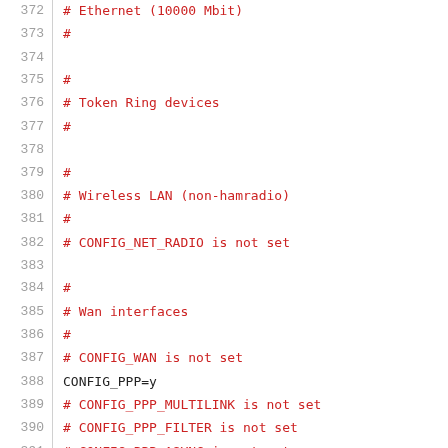372  # Ethernet (10000 Mbit)
373  #
374  
375  #
376  # Token Ring devices
377  #
378  
379  #
380  # Wireless LAN (non-hamradio)
381  #
382  # CONFIG_NET_RADIO is not set
383  
384  #
385  # Wan interfaces
386  #
387  # CONFIG_WAN is not set
388  CONFIG_PPP=y
389  # CONFIG_PPP_MULTILINK is not set
390  # CONFIG_PPP_FILTER is not set
391  # CONFIG_PPP_ASYNC is not set
392  # CONFIG_PPP_SYNC_TTY is not set
393  # CONFIG_PPP_DEFLATE is not set